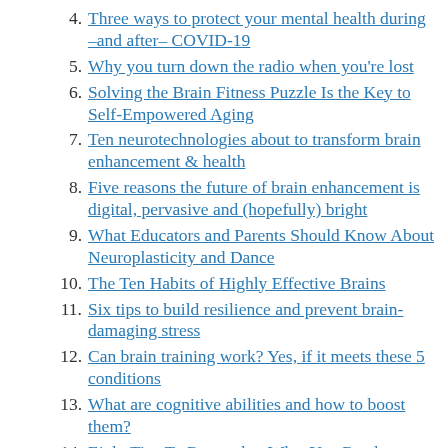4. Three ways to protect your mental health during –and after– COVID-19
5. Why you turn down the radio when you're lost
6. Solving the Brain Fitness Puzzle Is the Key to Self-Empowered Aging
7. Ten neurotechnologies about to transform brain enhancement & health
8. Five reasons the future of brain enhancement is digital, pervasive and (hopefully) bright
9. What Educators and Parents Should Know About Neuroplasticity and Dance
10. The Ten Habits of Highly Effective Brains
11. Six tips to build resilience and prevent brain-damaging stress
12. Can brain training work? Yes, if it meets these 5 conditions
13. What are cognitive abilities and how to boost them?
14. Eight Tips To Remember What You Read
15. Twenty Must-Know Facts to Harness Neuroplasticity